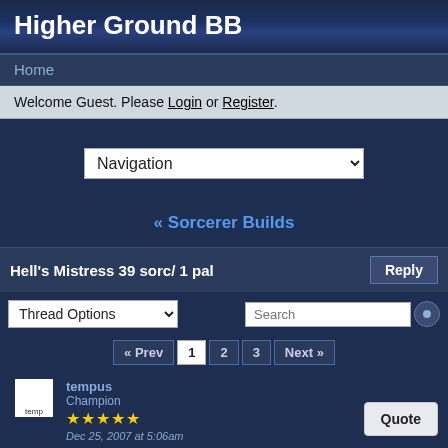Higher Ground BB
Home
Welcome Guest. Please Login or Register.
[Figure (screenshot): Navigation dropdown selector]
« Sorcerer Builds
Hell's Mistress 39 sorc/ 1 pal
[Figure (screenshot): Thread Options dropdown and Search box]
« Prev 1 2 3 Next »
tempus
Champion
★★★★★
Dec 25, 2007 at 5:06am